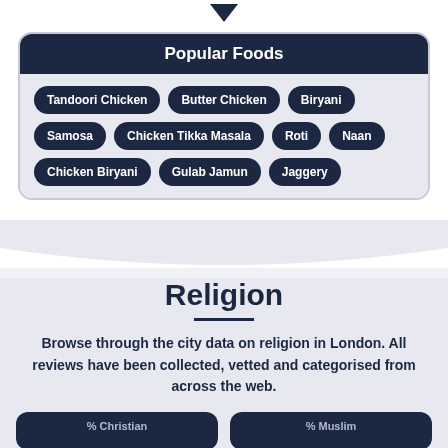Popular Foods
Tandoori Chicken
Butter Chicken
Biryani
Samosa
Chicken Tikka Masala
Roti
Naan
Chicken Biryani
Gulab Jamun
Jaggery
Religion
Browse through the city data on religion in London. All reviews have been collected, vetted and categorised from across the web.
% Christian
% Muslim